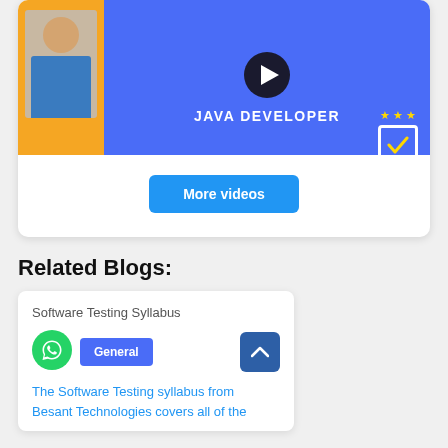[Figure (screenshot): Video thumbnail with Java Developer text, play button, person in blue outfit on orange background, and a checkbox icon with stars]
More videos
Related Blogs:
Software Testing Syllabus
[Figure (logo): WhatsApp green icon]
General
The Software Testing syllabus from Besant Technologies covers all of the